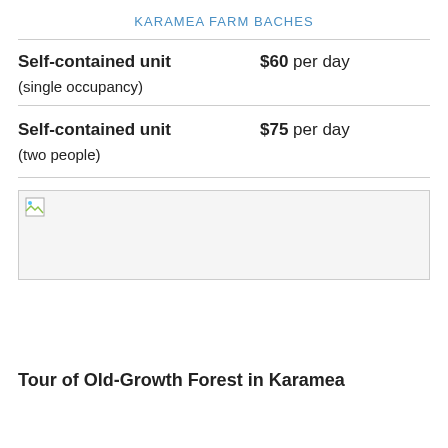KARAMEA FARM BACHES
| Self-contained unit
(single occupancy) | $60 per day |
| Self-contained unit
(two people) | $75 per day |
[Figure (photo): A broken/unloaded image placeholder representing a photo related to Karamea Farm Baches]
Tour of Old-Growth Forest in Karamea